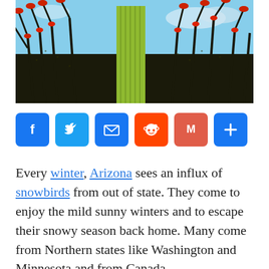[Figure (photo): Desert scene with a yellow saguaro cactus surrounded by ocotillo plants with red flowers against a blue sky]
[Figure (infographic): Social media sharing buttons row: Facebook (blue), Twitter (blue), Email (blue), Reddit (orange), Gmail (red/salmon), More/Plus (blue)]
Every winter, Arizona sees an influx of snowbirds from out of state. They come to enjoy the mild sunny winters and to escape their snowy season back home. Many come from Northern states like Washington and Minnesota and from Canada.